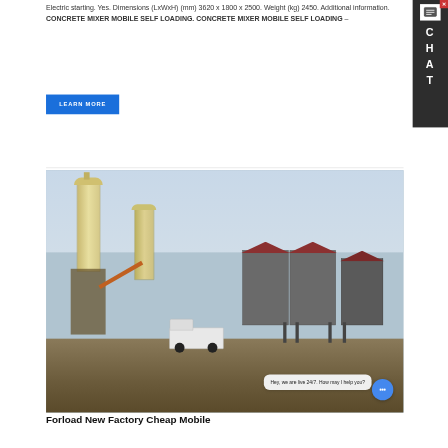Electric starting. Yes. Dimensions (LxWxH) (mm) 3620 x 1800 x 2500. Weight (kg) 2450. Additional information. CONCRETE MIXER MOBILE SELF LOADING. CONCRETE MIXER MOBILE SELF LOADING –
LEARN MORE
[Figure (photo): Outdoor industrial concrete batching plant with two tall yellow silos/hoppers on the left and multiple grey aggregate storage bins with metal framing on the right. A white pickup truck is visible in the foreground.]
Hey, we are live 24/7. How may I help you?
Forload New Factory Cheap Mobile